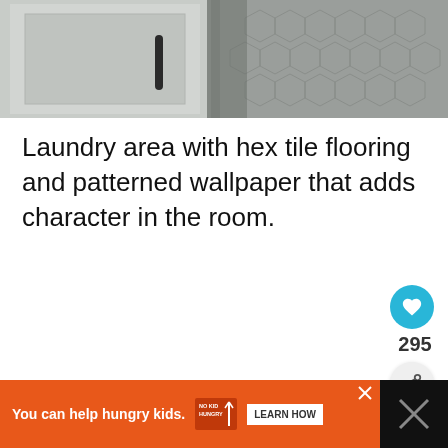[Figure (photo): Laundry area showing cabinet with black handle on left side and hexagonal tile flooring on the right, partial view cropped at top of page]
Laundry area with hex tile flooring and patterned wallpaper that adds character in the room.
[Figure (infographic): Heart/like button (teal circle with heart icon), count of 295, and share button (light circle with share icon) on the right side]
[Figure (infographic): Advertisement bar at bottom: orange background with text 'You can help hungry kids.' and No Kid Hungry logo and Learn How button, black section on right with X close button]